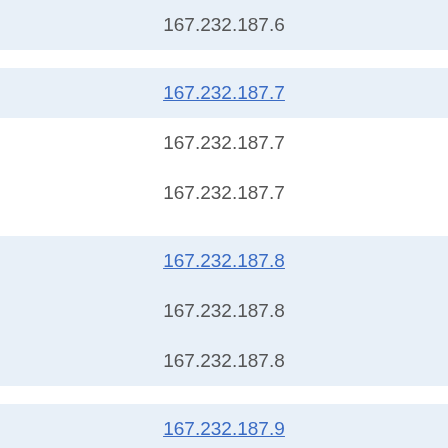167.232.187.6
167.232.187.7
167.232.187.7
167.232.187.7
167.232.187.8
167.232.187.8
167.232.187.8
167.232.187.9